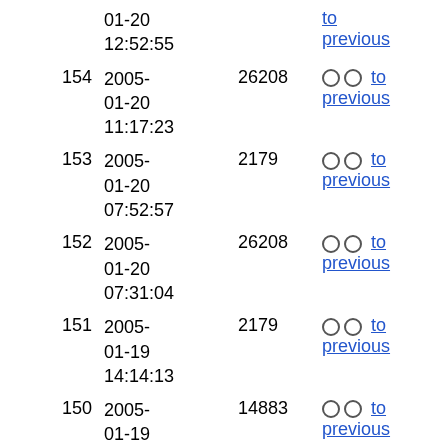| ID | Date | Num | Link | User |
| --- | --- | --- | --- | --- |
|  | 01-20 12:52:55 |  | ○ ○ to previous |  |
| 154 | 2005-01-20 11:17:23 | 26208 | ○ ○ to previous | anonym |
| 153 | 2005-01-20 07:52:57 | 2179 | ○ ○ to previous | anonym |
| 152 | 2005-01-20 07:31:04 | 26208 | ○ ○ to previous | anonym |
| 151 | 2005-01-19 14:14:13 | 2179 | ○ ○ to previous | anonym |
| 150 | 2005-01-19 10:29:23 | 14883 | ○ ○ to previous | anonym |
| 149 | 2005-01-19 | 2179 | ○ ○ to previous | anonym |